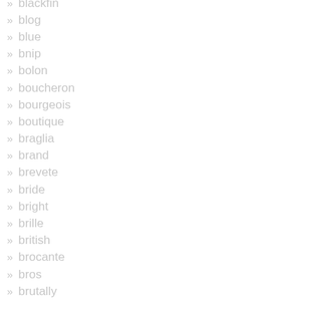blackfin
blog
blue
bnip
bolon
boucheron
bourgeois
boutique
braglia
brand
brevete
bride
bright
brille
british
brocante
bros
brutally